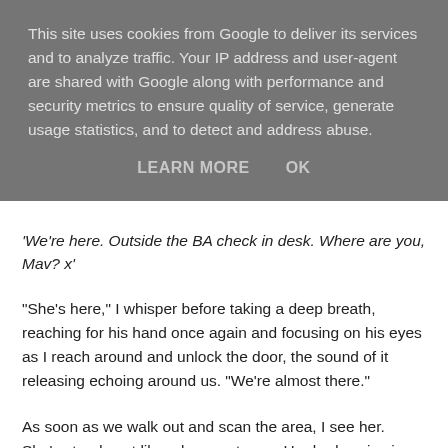This site uses cookies from Google to deliver its services and to analyze traffic. Your IP address and user-agent are shared with Google along with performance and security metrics to ensure quality of service, generate usage statistics, and to detect and address abuse.
LEARN MORE   OK
'We're here. Outside the BA check in desk. Where are you, Mav? x'
"She's here," I whisper before taking a deep breath, reaching for his hand once again and focusing on his eyes as I reach around and unlock the door, the sound of it releasing echoing around us. "We're almost there."
As soon as we walk out and scan the area, I see her. She's stands out like a beacon to me. Her body spins in slow circles, her head whipping from side to side as she searches for me in the crowds of people.